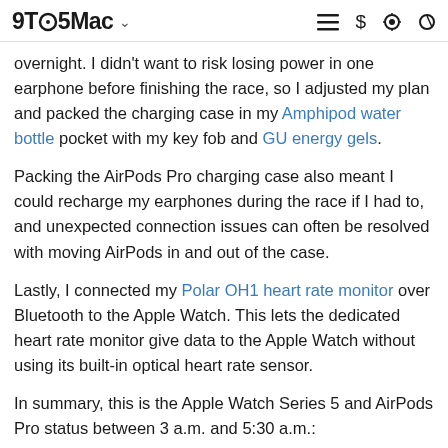9To5Mac
overnight. I didn't want to risk losing power in one earphone before finishing the race, so I adjusted my plan and packed the charging case in my Amphipod water bottle pocket with my key fob and GU energy gels.
Packing the AirPods Pro charging case also meant I could recharge my earphones during the race if I had to, and unexpected connection issues can often be resolved with moving AirPods in and out of the case.
Lastly, I connected my Polar OH1 heart rate monitor over Bluetooth to the Apple Watch. This lets the dedicated heart rate monitor give data to the Apple Watch without using its built-in optical heart rate sensor.
In summary, this is the Apple Watch Series 5 and AirPods Pro status between 3 a.m. and 5:30 a.m.:
AirPods Pro in charging case